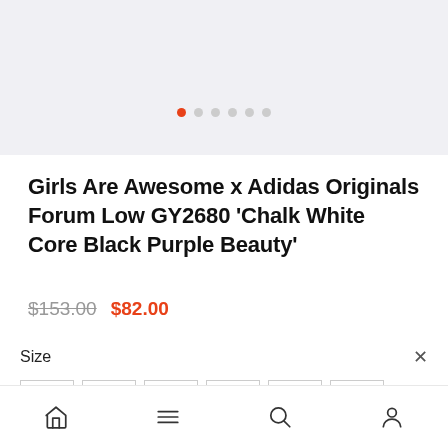[Figure (photo): Product image carousel area showing light grey background with pagination dots below; first dot is active (orange/red), followed by 5 grey dots]
Girls Are Awesome x Adidas Originals Forum Low GY2680 'Chalk White Core Black Purple Beauty'
$153.00  $82.00
Size  ×
36  36.5  37  38  38.5  39  40